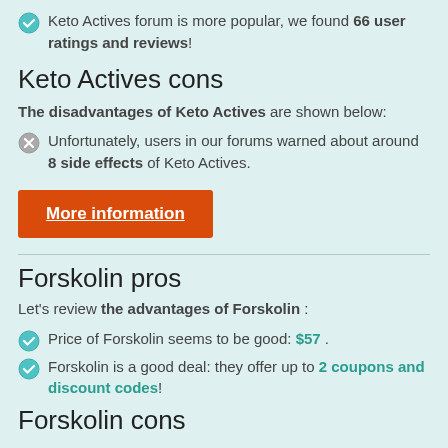Keto Actives forum is more popular, we found 66 user ratings and reviews!
Keto Actives cons
The disadvantages of Keto Actives are shown below:
Unfortunately, users in our forums warned about around 8 side effects of Keto Actives.
More information
Forskolin pros
Let's review the advantages of Forskolin :
Price of Forskolin seems to be good: $57 .
Forskolin is a good deal: they offer up to 2 coupons and discount codes!
Forskolin cons